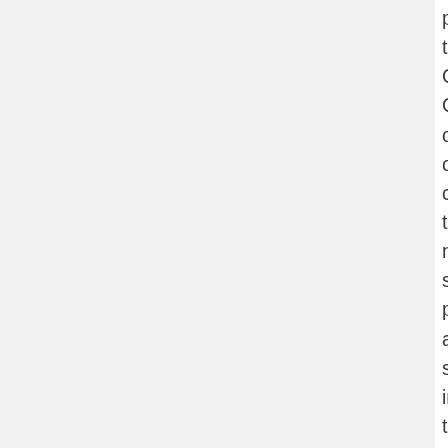postcards to CT Congressional offices opposing cuts to needed social programs and supporting increased taxes on the rich and corporate tax cheats and